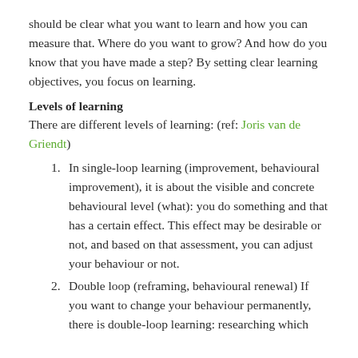should be clear what you want to learn and how you can measure that. Where do you want to grow? And how do you know that you have made a step? By setting clear learning objectives, you focus on learning.
Levels of learning
There are different levels of learning: (ref: Joris van de Griendt)
In single-loop learning (improvement, behavioural improvement), it is about the visible and concrete behavioural level (what): you do something and that has a certain effect. This effect may be desirable or not, and based on that assessment, you can adjust your behaviour or not.
Double loop (reframing, behavioural renewal) If you want to change your behaviour permanently, there is double-loop learning: researching which